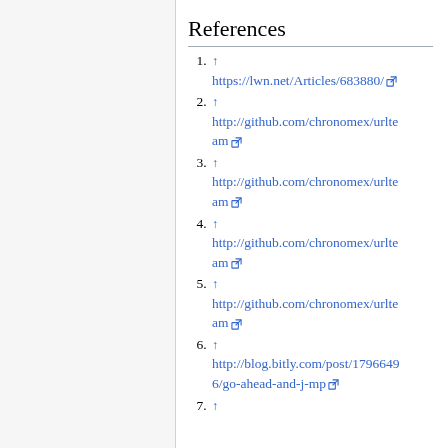References
↑ https://lwn.net/Articles/683880/
↑ http://github.com/chronomex/urlteam
↑ http://github.com/chronomex/urlteam
↑ http://github.com/chronomex/urlteam
↑ http://github.com/chronomex/urlteam
↑ http://blog.bitly.com/post/179666496/go-ahead-and-j-mp
↑